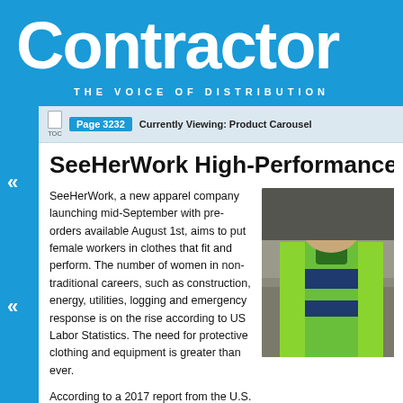[Figure (logo): Contractor Supply magazine logo — white bold text 'Contractor' on blue background with tagline 'THE VOICE OF DISTRIBUTION']
Page 3232   Currently Viewing: Product Carousel
SeeHerWork High-Performance W
SeeHerWork, a new apparel company launching mid-September with pre-orders available August 1st, aims to put female workers in clothes that fit and perform. The number of women in non-traditional careers, such as construction, energy, utilities, logging and emergency response is on the rise according to US Labor Statistics. The need for protective clothing and equipment is greater than ever.
According to a 2017 report from the U.S. Bureau of Labor Statistics, 150 women per year lose their lives at work, while thousands are
[Figure (photo): Person wearing bright green and navy blue striped high-performance work jacket, photographed outdoors against a gravelly ground background]